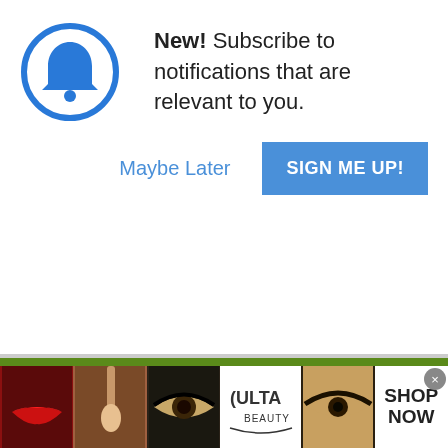[Figure (screenshot): Bell icon in a blue circle for notification prompt]
New! Subscribe to notifications that are relevant to you.
Maybe Later
SIGN ME UP!
Cream Cheese Lemon Bar Recipes
Cream Cheese Des
How To Make Heav
[Figure (screenshot): Video overlay showing Addicted Amish Style Apple Cake with play icon and mute button]
[Figure (screenshot): Bottom advertisement strip showing makeup imagery, ULTA Beauty logo, and SHOP NOW button]